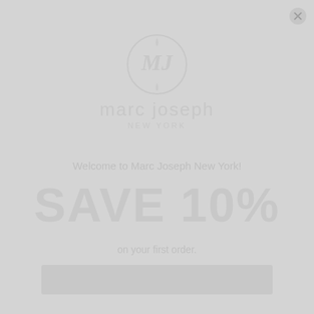[Figure (logo): Marc Joseph New York circular logo with ornate monogram (MJ) inside a circle, followed by brand name 'marc joseph' and 'NEW YORK' below]
Welcome to Marc Joseph New York!
SAVE 10%
on your first order.
Subscribe to our NEWSLETTER and get your coupon
[Figure (other): Email input field box (light gray rectangle)]